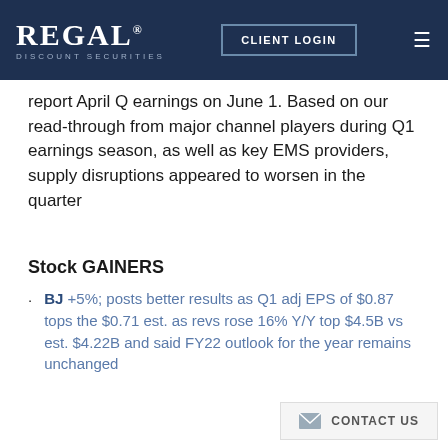REGAL DISCOUNT SECURITIES | CLIENT LOGIN
report April Q earnings on June 1. Based on our read-through from major channel players during Q1 earnings season, as well as key EMS providers, supply disruptions appeared to worsen in the quarter
Stock GAINERS
BJ +5%; posts better results as Q1 adj EPS of $0.87 tops the $0.71 est. as revs rose 16% Y/Y top $4.5B vs est. $4.22B and said FY22 outlook for the year remains unchanged